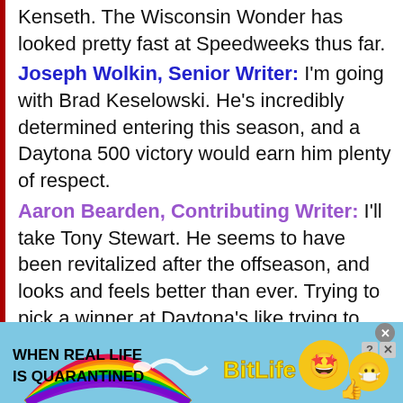Kenseth. The Wisconsin Wonder has looked pretty fast at Speedweeks thus far. Joseph Wolkin, Senior Writer: I'm going with Brad Keselowski. He's incredibly determined entering this season, and a Daytona 500 victory would earn him plenty of respect. Aaron Bearden, Contributing Writer: I'll take Tony Stewart. He seems to have been revitalized after the offseason, and looks and feels better than ever. Trying to pick a winner at Daytona's like trying to win the Powerball (I'm looking at you, Dale Jr.), but very few have been as successful at Daytona as Smoke.
[Figure (infographic): BitLife advertisement banner with rainbow arc, sperm emoji, star-eyes emoji, masked emoji, and thumbs-up emoji. Text: WHEN REAL LIFE IS QUARANTINED and BitLife.]